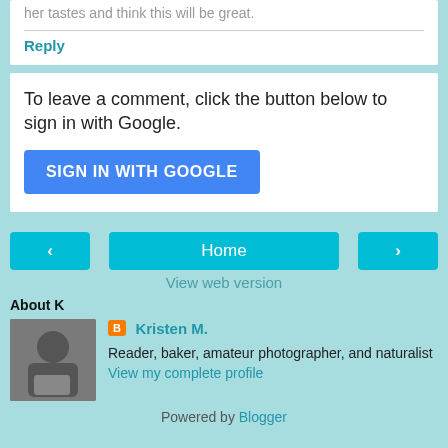her tastes and think this will be great.
Reply
To leave a comment, click the button below to sign in with Google.
SIGN IN WITH GOOGLE
‹
Home
›
View web version
About K
[Figure (photo): Profile photo of a child reading on a couch]
Kristen M.
Reader, baker, amateur photographer, and naturalist
View my complete profile
Powered by Blogger